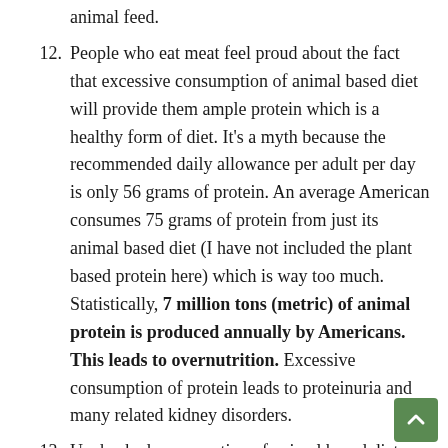animal feed.
12. People who eat meat feel proud about the fact that excessive consumption of animal based diet will provide them ample protein which is a healthy form of diet. It's a myth because the recommended daily allowance per adult per day is only 56 grams of protein. An average American consumes 75 grams of protein from just its animal based diet (I have not included the plant based protein here) which is way too much. Statistically, 7 million tons (metric) of animal protein is produced annually by Americans. This leads to overnutrition. Excessive consumption of protein leads to proteinuria and many related kidney disorders.
13. Unchecked consumption of animal based diet leads to innumerable health disorders. Some of the common health conditions due to over consumption of meat include high cholesterol and blood pressure levels. The other disorde...